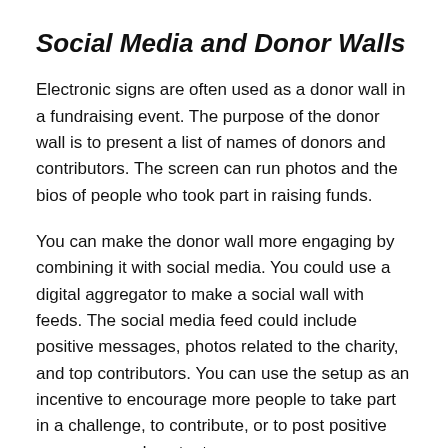Social Media and Donor Walls
Electronic signs are often used as a donor wall in a fundraising event. The purpose of the donor wall is to present a list of names of donors and contributors. The screen can run photos and the bios of people who took part in raising funds.
You can make the donor wall more engaging by combining it with social media. You could use a digital aggregator to make a social wall with feeds. The social media feed could include positive messages, photos related to the charity, and top contributors. You can use the setup as an incentive to encourage more people to take part in a challenge, to contribute, or to post positive messages and content.